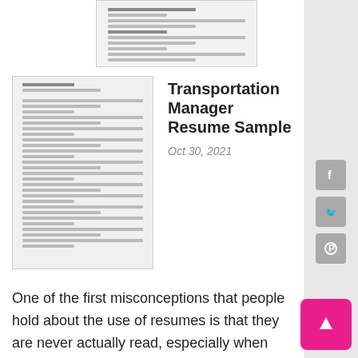[Figure (screenshot): Thumbnail image of a resume document at the top]
[Figure (screenshot): Larger thumbnail image of Transportation Manager Resume]
Transportation Manager Resume Sample
Oct 30, 2021
One of the first misconceptions that people hold about the use of resumes is that they are never actually read, especially when there are online application forms to be filled out. While this cannot be proven either way, I do know from my own experience as a professional writer that most recruiters do look at the resumes received because it provides a general overview of the candidate's attention to, or lack